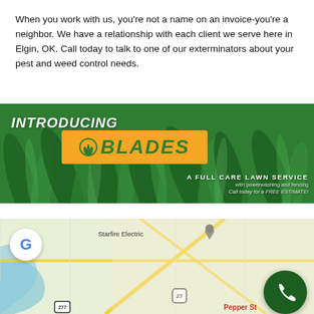When you work with us, you're not a name on an invoice-you're a neighbor. We have a relationship with each client we serve here in Elgin, OK. Call today to talk to one of our exterminators about your pest and weed control needs.
[Figure (illustration): Banner advertisement for 'BLADES - A Full Care Lawn Service' with a green grass background, orange logo box, and taglines about powerwashing, fencing, and free estimates.]
[Figure (map): Google Maps screenshot showing a local area map with a Google 'G' badge, a phone call button, Starfire Electric label, and 'Pepper St' street label visible.]